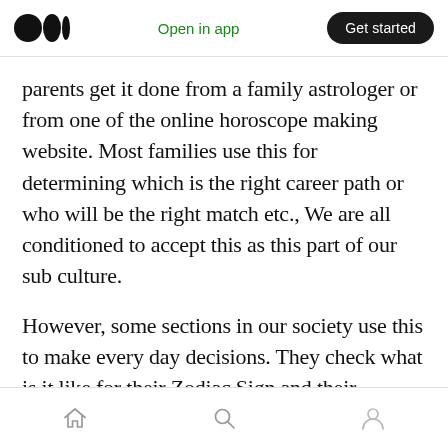Medium logo | Open in app | Get started
parents get it done from a family astrologer or from one of the online horoscope making website. Most families use this for determining which is the right career path or who will be the right match etc., We are all conditioned to accept this as this part of our sub culture.
However, some sections in our society use this to make every day decisions. They check what is it like for their Zodiac Sign and their specific star before embarking to do much less tasks.
Home | Search | Profile